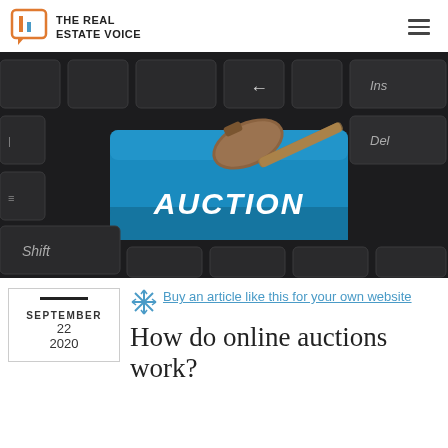THE REAL ESTATE VOICE
[Figure (photo): Close-up photo of a computer keyboard with a blue highlighted key labeled 'AUCTION' in bold white text, and a wooden gavel resting on top of it. Other visible keys include Shift, Insert, and Delete. Dark/black keyboard background.]
Buy an article like this for your own website
How do online auctions work?
SEPTEMBER 22 2020